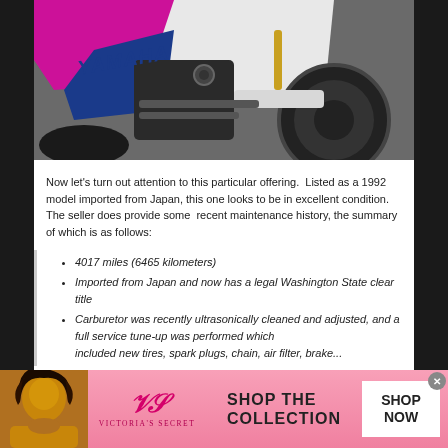[Figure (photo): Close-up photo of a Yamaha motorcycle engine and body, showing pink/magenta and blue fairings with 'YAMAHA' text, white frame, chain drive, and mechanical components.]
Now let's turn out attention to this particular offering.  Listed as a 1992 model imported from Japan, this one looks to be in excellent condition.  The seller does provide some  recent maintenance history, the summary of which is as follows:
4017 miles (6465 kilometers)
Imported from Japan and now has a legal Washington State clear title
Carburetor was recently ultrasonically cleaned and adjusted, and a full service tune-up was performed which included new tires, spark plugs, chain, air filter, brake...
[Figure (advertisement): Victoria's Secret advertisement banner with pink gradient background, model on left, VS logo in center, 'SHOP THE COLLECTION' text, and 'SHOP NOW' button on right.]